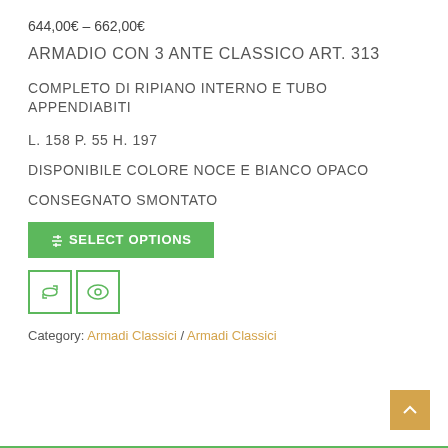644,00€ – 662,00€
ARMADIO CON 3 ANTE CLASSICO ART. 313
COMPLETO DI RIPIANO INTERNO E TUBO APPENDIABITI
L. 158 P. 55 H. 197
DISPONIBILE COLORE NOCE E BIANCO OPACO
CONSEGNATO SMONTATO
⛭ SELECT OPTIONS
Category: Armadi Classici / Armadi Classici